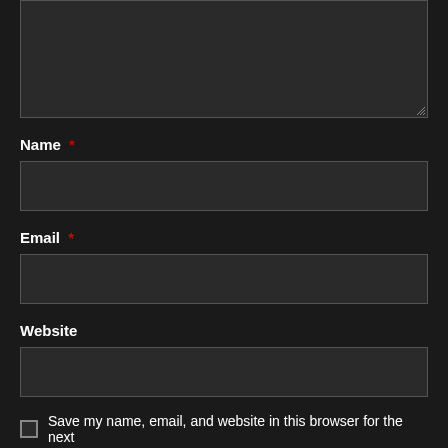[Figure (screenshot): Dark-themed web comment form showing a textarea (partially visible at top), Name field with asterisk, Email field with asterisk, Website field, and a save checkbox row]
Name *
Email *
Website
Save my name, email, and website in this browser for the next